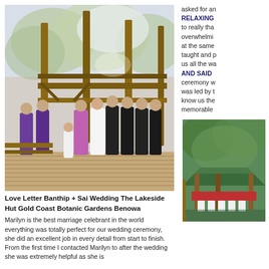[Figure (photo): Outdoor wedding ceremony at The Lakeside Hut Gold Coast Botanic Gardens Benowa. Wedding party stands on a wooden deck under a timber pergola structure surrounded by trees. Bridesmaids in purple dresses, bride in white, groomsmen in black suits.]
Love Letter Banthip + Sai Wedding The Lakeside Hut Gold Coast Botanic Gardens Benowa
Marilyn is the best marriage celebrant in the world everything was totally perfect for our wedding ceremony, she did an excellent job in every detail from start to finish. From the first time I contacted Marilyn to after the wedding she was extremely helpful as she is
asked for an
RELAXING
to really tha
overwhelmi
at the same
taught and p
us all the wa
AND SAID
ceremony w
was led by t
know us the
memorable
[Figure (photo): Outdoor garden venue photo showing a green-roofed gazebo or pavilion structure surrounded by lush green trees and foliage, with white chairs visible.]